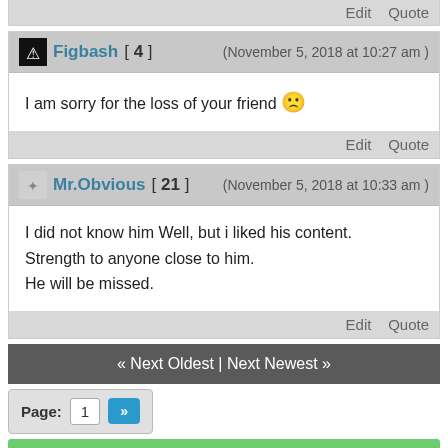Edit   Quote
Figbash [ 4 ]  (November 5, 2018 at 10:27 am )
I am sorry for the loss of your friend 😕
Edit   Quote
Mr.Obvious [ 21 ]  (November 5, 2018 at 10:33 am )
I did not know him Well, but i liked his content.
Strength to anyone close to him.
He will be missed.
Edit   Quote
« Next Oldest | Next Newest »
Page: 1 »
Subscribe to this thread
🏠 atheist forums   return to top 🏠